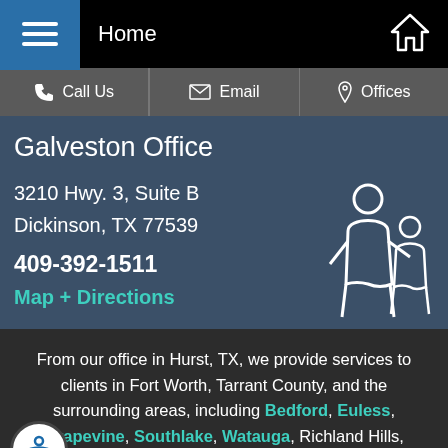Home
Call Us  Email  Offices
Galveston Office
3210 Hwy. 3, Suite B
Dickinson, TX 77539
409-392-1511
Map + Directions
[Figure (illustration): Family outline icon showing adult and child figures in white on teal/dark background]
From our office in Hurst, TX, we provide services to clients in Fort Worth, Tarrant County, and the surrounding areas, including Bedford, Euless, Grapevine, Southlake, Watauga, Richland Hills, Haltom City, Arlington, Keller, and Colleyville.